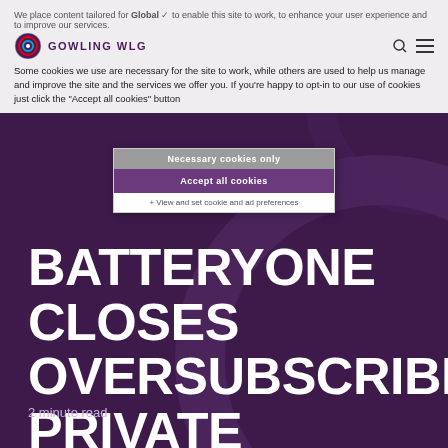We place cookies tailored for Global to enable this site to work, to enhance your user experience and to improve our services. Some cookies we use are necessary for the site to work, while others are used to help us manage and improve the site and the services we offer you. If you're happy to opt-in to our use of cookies just click the "Accept all cookies" button
[Figure (logo): Gowling WLG logo with circular emblem and text]
Necessary cookies only
Accept all cookies
+ View and set cookie and ad preferences
BATTERYONE CLOSES OVERSUBSCRIBED PRIVATE PLACEMENT OF SPECIAL WARRANTS
2 minute read